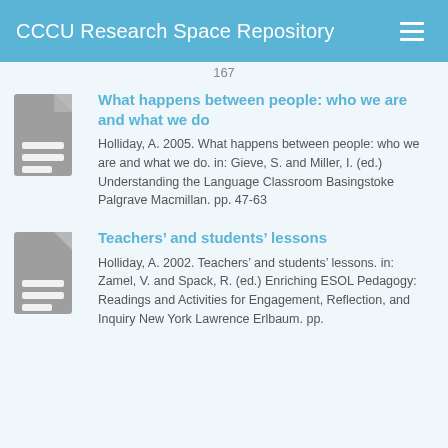CCCU Research Space Repository
167
What happens between people: who we are and what we do
Holliday, A. 2005. What happens between people: who we are and what we do. in: Gieve, S. and Miller, I. (ed.) Understanding the Language Classroom Basingstoke Palgrave Macmillan. pp. 47-63
Teachers’ and students’ lessons
Holliday, A. 2002. Teachers’ and students’ lessons. in: Zamel, V. and Spack, R. (ed.) Enriching ESOL Pedagogy: Readings and Activities for Engagement, Reflection, and Inquiry New York Lawrence Erlbaum. pp.